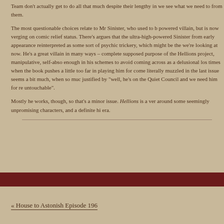Team don't actually get to do all that much despite their lengthy in we see what we need to from them.
The most questionable choices relate to Mr Sinister, who used to b powered villain, but is now verging on comic relief status. There's argues that the ultra-high-powered Sinister from early appearance reinterpreted as some sort of psychic trickery, which might be the we're looking at now. He's a great villain in many ways – complete supposed purpose of the Hellions project, manipulative, self-abso enough in his schemes to avoid coming across as a delusional los times when the book pushes a little too far in playing him for come literally muzzled in the last issue seems a bit much, when so muc justified by "well, he's on the Quiet Council and we need him for re untouchable".
Mostly he works, though, so that's a minor issue. Hellions is a ver around some seemingly unpromising characters, and a definite hi era.
« House to Astonish Episode 196